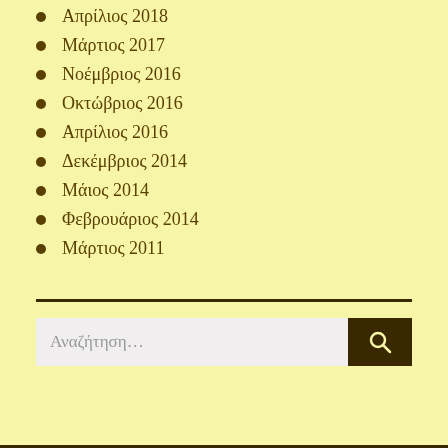Απρίλιος 2018
Μάρτιος 2017
Νοέμβριος 2016
Οκτώβριος 2016
Απρίλιος 2016
Δεκέμβριος 2014
Μάιος 2014
Φεβρουάριος 2014
Μάρτιος 2011